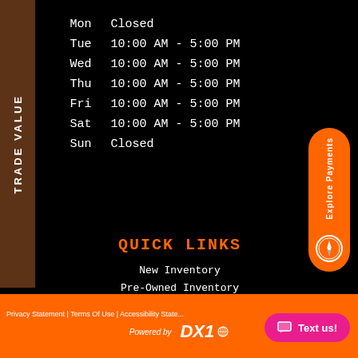TRADE VALUE
| Day | Hours |
| --- | --- |
| Mon | Closed |
| Tue | 10:00 AM - 5:00 PM |
| Wed | 10:00 AM - 5:00 PM |
| Thu | 10:00 AM - 5:00 PM |
| Fri | 10:00 AM - 5:00 PM |
| Sat | 10:00 AM - 5:00 PM |
| Sun | Closed |
[Figure (infographic): Orange pill-shaped button with 'Explore Payments' text and compass icon]
QUICK LINKS
New Inventory
Pre-Owned Inventory
Secure Financing
Map & Hours
Contact Us
Privacy Statement | Terms Of Use | Accessibility Statement
Powered by DX1
Text us!